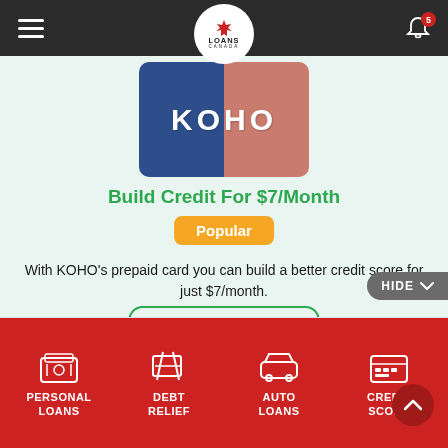Loans Canada
[Figure (logo): KOHO prepaid card logo — blue and salmon/pink split design with KOHO text]
Build Credit For $7/Month
Popular
With KOHO's prepaid card you can build a better credit score for just $7/month.
VIEW OFFER
HIDE
PERSONAL LOANS   DEBT RELIEF   AUTO LOANS   CREDIT SCORE